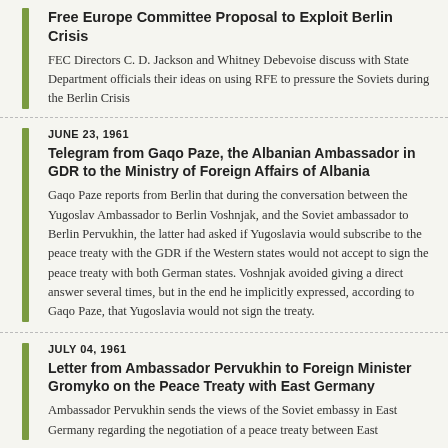Free Europe Committee Proposal to Exploit Berlin Crisis
FEC Directors C. D. Jackson and Whitney Debevoise discuss with State Department officials their ideas on using RFE to pressure the Soviets during the Berlin Crisis
JUNE 23, 1961
Telegram from Gaqo Paze, the Albanian Ambassador in GDR to the Ministry of Foreign Affairs of Albania
Gaqo Paze reports from Berlin that during the conversation between the Yugoslav Ambassador to Berlin Voshnjak, and the Soviet ambassador to Berlin Pervukhin, the latter had asked if Yugoslavia would subscribe to the peace treaty with the GDR if the Western states would not accept to sign the peace treaty with both German states. Voshnjak avoided giving a direct answer several times, but in the end he implicitly expressed, according to Gaqo Paze, that Yugoslavia would not sign the treaty.
JULY 04, 1961
Letter from Ambassador Pervukhin to Foreign Minister Gromyko on the Peace Treaty with East Germany
Ambassador Pervukhin sends the views of the Soviet embassy in East Germany regarding the negotiation of a peace treaty between East